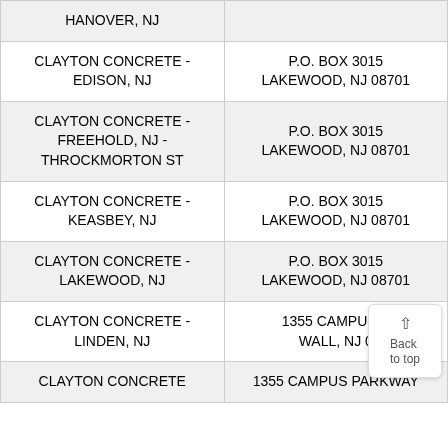| Company / Location | Address |
| --- | --- |
| HANOVER, NJ |  |
| CLAYTON CONCRETE - EDISON, NJ | P.O. BOX 3015
LAKEWOOD, NJ 08701 |
| CLAYTON CONCRETE - FREEHOLD, NJ - THROCKMORTON ST | P.O. BOX 3015
LAKEWOOD, NJ 08701 |
| CLAYTON CONCRETE - KEASBEY, NJ | P.O. BOX 3015
LAKEWOOD, NJ 08701 |
| CLAYTON CONCRETE - LAKEWOOD, NJ | P.O. BOX 3015
LAKEWOOD, NJ 08701 |
| CLAYTON CONCRETE - LINDEN, NJ | 1355 CAMPUS P...
WALL, NJ 0... |
| CLAYTON CONCRETE | 1355 CAMPUS PARKWAY |